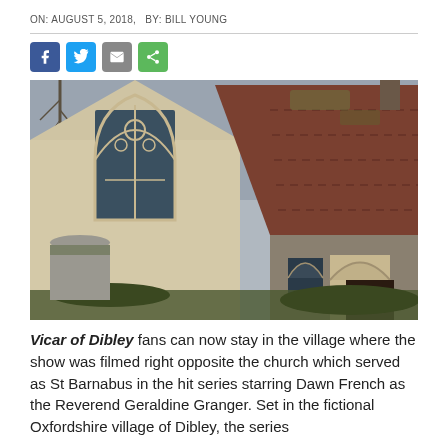ON: AUGUST 5, 2018,   BY: BILL YOUNG
[Figure (photo): Exterior of a small stone Gothic-style church with a pointed arch window and a tiled roof annexe with a porch, surrounded by bare trees and winter vegetation.]
Vicar of Dibley fans can now stay in the village where the show was filmed right opposite the church which served as St Barnabus in the hit series starring Dawn French as the Reverend Geraldine Granger. Set in the fictional Oxfordshire village of Dibley, the series...